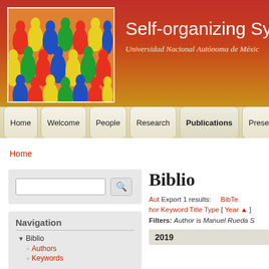[Figure (photo): Colorful silhouettes of people in red, yellow, green, and blue arranged in a dense crowd pattern]
Self-organizing Syst
Universidad Nacional Autónoma de Méxic
Home  Welcome  People  Research  Publications  Presen
Home
Biblio
Aut  Export 1 results:   BibTe  hor Keyword Title Type [ Year ▲ ]  Filters: Author is Manuel Rueda S
Navigation
▼ Biblio
Authors
Keywords
2019